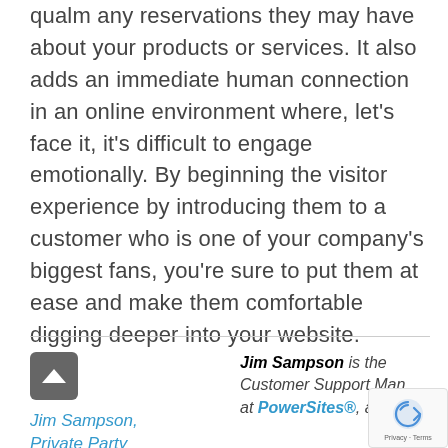qualm any reservations they may have about your products or services. It also adds an immediate human connection in an online environment where, let's face it, it's difficult to engage emotionally. By beginning the visitor experience by introducing them to a customer who is one of your company's biggest fans, you're sure to put them at ease and make them comfortable digging deeper into your website.
Jim Sampson, Private Party Advertising
Jim Sampson is the Customer Support Man... at PowerSites®, an all...